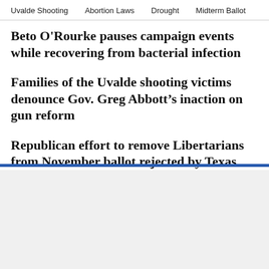Uvalde Shooting   Abortion Laws   Drought   Midterm Ballot
Beto O'Rourke pauses campaign events while recovering from bacterial infection
Families of the Uvalde shooting victims denounce Gov. Greg Abbott’s inaction on gun reform
Republican effort to remove Libertarians from November ballot rejected by Texas Supreme Court